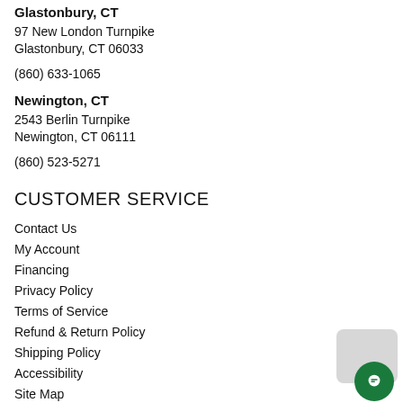Glastonbury, CT
97 New London Turnpike
Glastonbury, CT 06033
(860) 633-1065
Newington, CT
2543 Berlin Turnpike
Newington, CT 06111
(860) 523-5271
CUSTOMER SERVICE
Contact Us
My Account
Financing
Privacy Policy
Terms of Service
Refund & Return Policy
Shipping Policy
Accessibility
Site Map
Do Not Sell My Personal Information